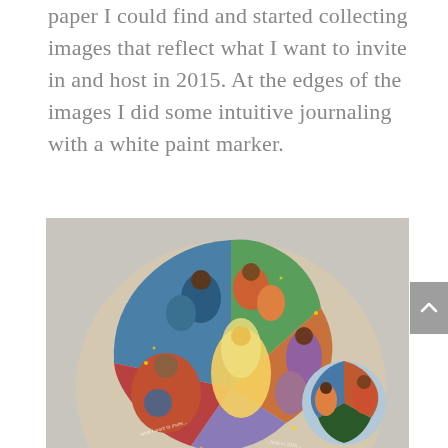paper I could find and started collecting images that reflect what I want to invite in and host in 2015. At the edges of the images I did some intuitive journaling with a white paint marker.
[Figure (photo): A circular collage artwork mounted on a light gray background, featuring vibrant, colorful painted images of diverse women and figures arranged in a mandala-like circle. The collage includes images of women holding the earth, figures in nature, people dancing and celebrating, rendered in rich blues, reds, oranges, and greens. White paint marker text appears around the edges of the circular arrangement.]